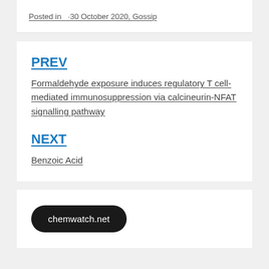Posted in  ·30 October 2020, Gossip
PREV
Formaldehyde exposure induces regulatory T cell-mediated immunosuppression via calcineurin-NFAT signalling pathway
NEXT
Benzoic Acid
chemwatch.net